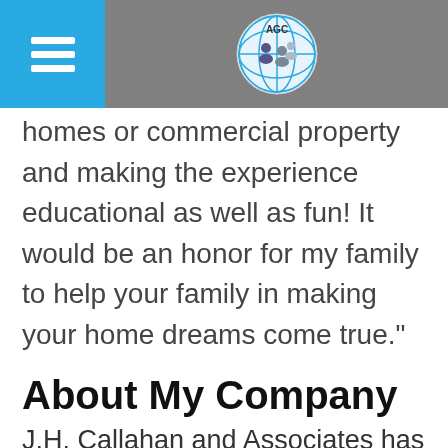AGC
homes or commercial property and making the experience educational as well as fun! It would be an honor for my family to help your family in making your home dreams come true."
About My Company
J.H. Callahan and Associates has been serving home/commercial buyers/sellers for over 30 years. The secret to our